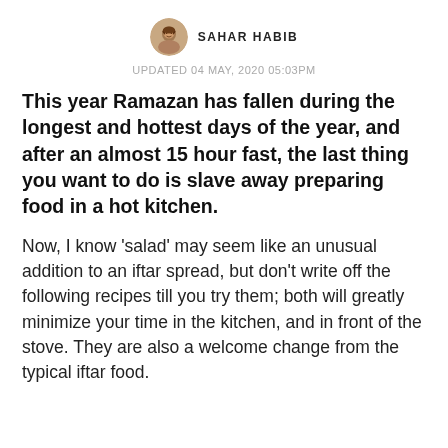[Figure (photo): Small circular profile photo of Sahar Habib, a woman smiling]
SAHAR HABIB
UPDATED 04 MAY, 2020 05:03PM
This year Ramazan has fallen during the longest and hottest days of the year, and after an almost 15 hour fast, the last thing you want to do is slave away preparing food in a hot kitchen.
Now, I know ‘salad’ may seem like an unusual addition to an iftar spread, but don't write off the following recipes till you try them; both will greatly minimize your time in the kitchen, and in front of the stove. They are also a welcome change from the typical iftar food.